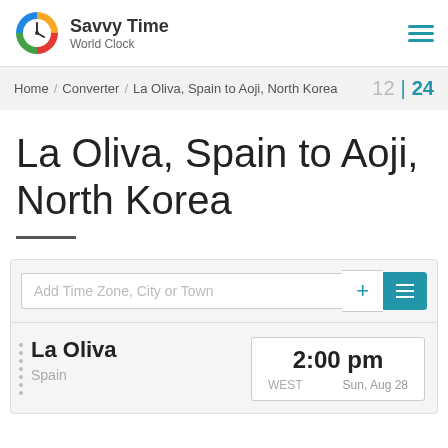Savvy Time World Clock
Home / Converter / La Oliva, Spain to Aoji, North Korea   12 | 24
La Oliva, Spain to Aoji, North Korea
Add Time Zone, City or Town
La Oliva  Spain   2:00 pm   WEST   Sun, Aug 28